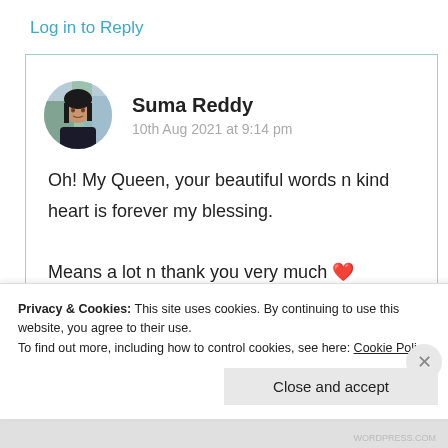Log in to Reply
Suma Reddy
10th Aug 2021 at 9:14 pm
Oh! My Queen, your beautiful words n kind heart is forever my blessing.
Means a lot n thank you very much ❤ 😊😇🙏🙏
Privacy & Cookies: This site uses cookies. By continuing to use this website, you agree to their use.
To find out more, including how to control cookies, see here: Cookie Policy
Close and accept